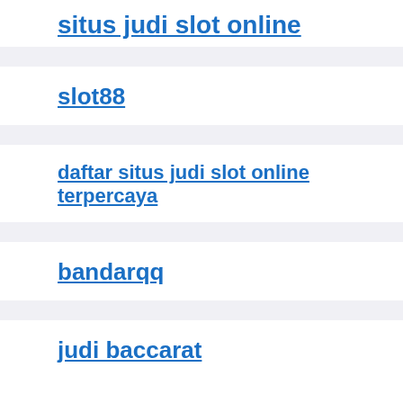situs judi slot online
slot88
daftar situs judi slot online terpercaya
bandarqq
judi baccarat